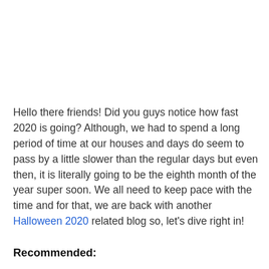Hello there friends! Did you guys notice how fast 2020 is going? Although, we had to spend a long period of time at our houses and days do seem to pass by a little slower than the regular days but even then, it is literally going to be the eighth month of the year super soon. We all need to keep pace with the time and for that, we are back with another Halloween 2020 related blog so, let's dive right in!
Recommended: